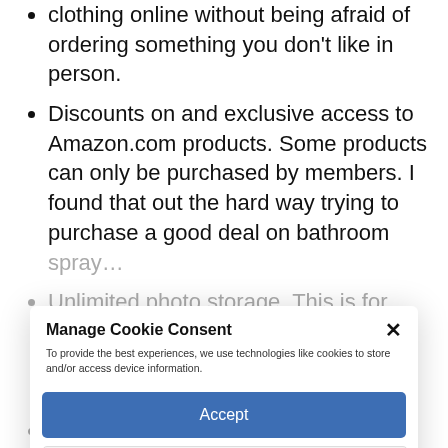clothing online without being afraid of ordering something you don't like in person.
Discounts on and exclusive access to Amazon.com products. Some products can only be purchased by members. I found that out the hard way trying to purchase a good deal on bathroom spray…
Unlimited photo storage. This is for storage (the cloud) not bookcases for photo album books… but there's an idea for a business!…
Access to free games and something called Twitch. If you know what that is then you might be excited.
Early ac… books and some
Manage Cookie Consent
To provide the best experiences, we use technologies like cookies to store and/or access device information.
Accept
View preferences
Cookie Policy   Privacy Policy